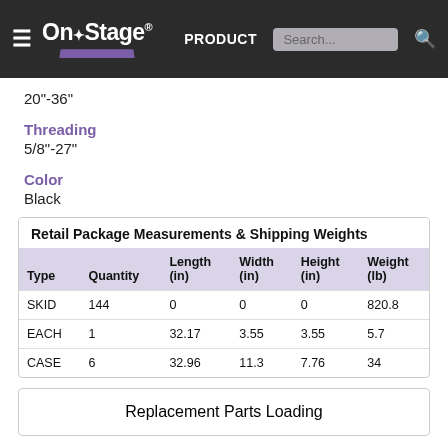On Stage® PRODUCTS Search...
20"-36"
Threading
5/8"-27"
Color
Black
| Type | Quantity | Length (in) | Width (in) | Height (in) | Weight (lb) |
| --- | --- | --- | --- | --- | --- |
| SKID | 144 | 0 | 0 | 0 | 820.8 |
| EACH | 1 | 32.17 | 3.55 | 3.55 | 5.7 |
| CASE | 6 | 32.96 | 11.3 | 7.76 | 34 |
Retail Package Measurements & Shipping Weights
Replacement Parts Loading